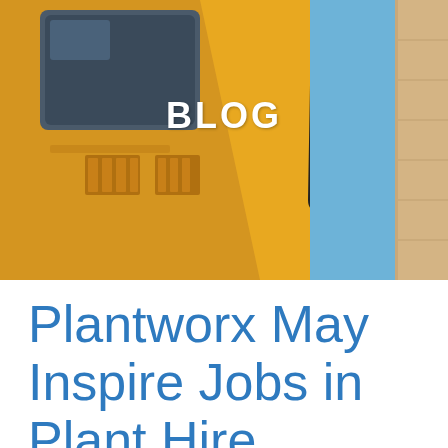[Figure (photo): Close-up photograph of a yellow construction vehicle/plant machinery cab from below, against a blue sky, with a metal handrail/step visible. A beige/stone wall is visible on the right edge.]
BLOG
Plantworx May Inspire Jobs in Plant Hire